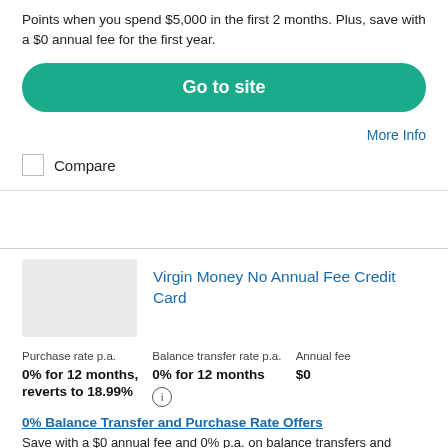Points when you spend $5,000 in the first 2 months. Plus, save with a $0 annual fee for the first year.
Go to site
More Info
Compare
[Figure (other): Credit card image placeholder (grey rectangle)]
Virgin Money No Annual Fee Credit Card
Purchase rate p.a.
0% for 12 months, reverts to 18.99%
Balance transfer rate p.a.
0% for 12 months
Annual fee
$0
0% Balance Transfer and Purchase Rate Offers
Save with a $0 annual fee and 0% p.a. on balance transfers and purchases for 12 months.